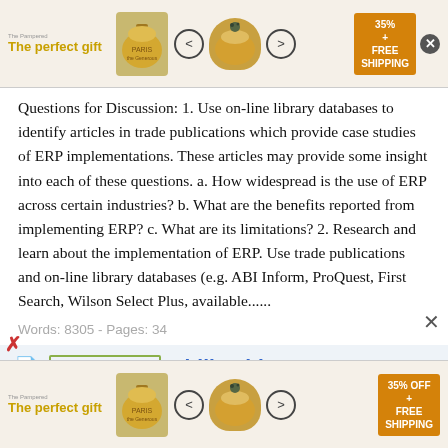[Figure (infographic): Top advertisement banner: 'The perfect gift' with bowl/pot image, navigation arrows, and 35% FREE SHIPPING badge]
Questions for Discussion: 1. Use on-line library databases to identify articles in trade publications which provide case studies of ERP implementations. These articles may provide some insight into each of these questions. a. How widespread is the use of ERP across certain industries? b. What are the benefits reported from implementing ERP? c. What are its limitations? 2. Research and learn about the implementation of ERP. Use trade publications and on-line library databases (e.g. ABI Inform, ProQuest, First Search, Wilson Select Plus, available......
Words: 8305 - Pages: 34
Premium Essay    Philhealth
...History THE call to serve the rural indigents echoed
[Figure (infographic): Bottom advertisement banner: 'The perfect gift' with bowl/pot image, navigation arrows, and 35% OFF FREE SHIPPING badge]